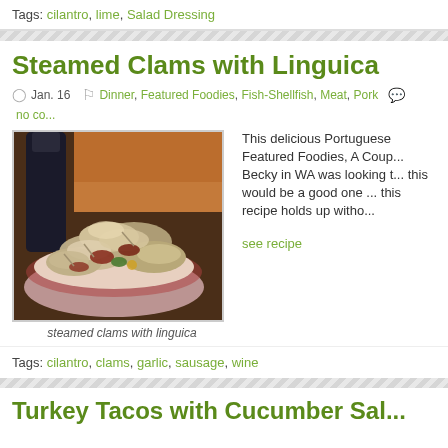Tags: cilantro, lime, Salad Dressing
Steamed Clams with Linguica
Jan. 16   Dinner, Featured Foodies, Fish-Shellfish, Meat, Pork   no co...
[Figure (photo): Bowl of steamed clams with linguica sausage, with a wine bottle in background]
steamed clams with linguica
This delicious Portuguese... Featured Foodies, A Coup... Becky in WA was looking t... this would be a good one ... this recipe holds up witho...
see recipe
Tags: cilantro, clams, garlic, sausage, wine
Turkey Tacos with Cucumber Sal...